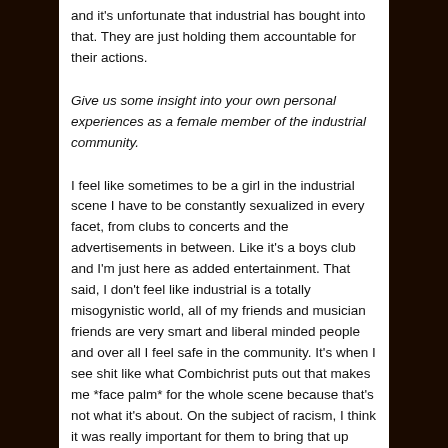and it's unfortunate that industrial has bought into that. They are just holding them accountable for their actions.
Give us some insight into your own personal experiences as a female member of the industrial community.
I feel like sometimes to be a girl in the industrial scene I have to be constantly sexualized in every facet, from clubs to concerts and the advertisements in between. Like it's a boys club and I'm just here as added entertainment. That said, I don't feel like industrial is a totally misogynistic world, all of my friends and musician friends are very smart and liberal minded people and over all I feel safe in the community. It's when I see shit like what Combichrist puts out that makes me *face palm* for the whole scene because that's not what it's about. On the subject of racism, I think it was really important for them to bring that up because I think we have to be careful because industrial is also a very white scene and I think some of the imagery that is used can be